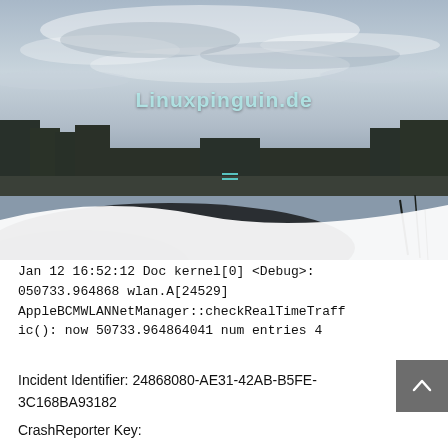[Figure (photo): Landscape photo of a calm lake reflecting a dark treeline and cloudy sky, with a dark rock/stone in the foreground left. A white curved shape overlays the bottom portion. Watermark text 'Linuxpinguin.de' across the middle.]
Jan 12 16:52:12 Doc kernel[0] <Debug>: 050733.964868 wlan.A[24529] AppleBCMWLANNetManager::checkRealTimeTraffic(): now 50733.964864041 num entries 4
Incident Identifier: 24868080-AE31-42AB-B5FE-3C168BA93182
CrashReporter Key: